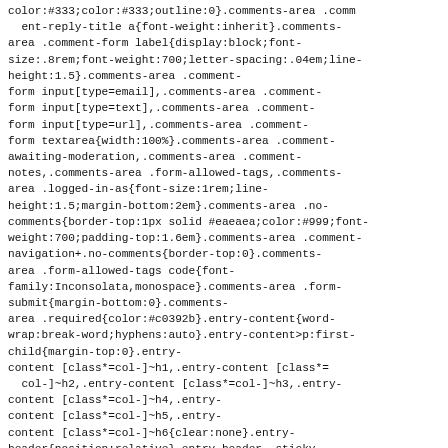color:#333;color:#333;outline:0}.comments-area .comment-reply-title a{font-weight:inherit}.comments-area .comment-form label{display:block;font-size:.8rem;font-weight:700;letter-spacing:.04em;line-height:1.5}.comments-area .comment-form input[type=email],.comments-area .comment-form input[type=text],.comments-area .comment-form input[type=url],.comments-area .comment-form textarea{width:100%}.comments-area .comment-awaiting-moderation,.comments-area .comment-notes,.comments-area .form-allowed-tags,.comments-area .logged-in-as{font-size:1rem;line-height:1.5;margin-bottom:2em}.comments-area .no-comments{border-top:1px solid #eaeaea;color:#999;font-weight:700;padding-top:1.6em}.comments-area .comment-navigation+.no-comments{border-top:0}.comments-area .form-allowed-tags code{font-family:Inconsolata,monospace}.comments-area .form-submit{margin-bottom:0}.comments-area .required{color:#c0392b}.entry-content{word-wrap:break-word;hyphens:auto}.entry-content>p:first-child{margin-top:0}.entry-content [class*=col-]~h1,.entry-content [class*=col-]~h2,.entry-content [class*=col-]~h3,.entry-content [class*=col-]~h4,.entry-content [class*=col-]~h5,.entry-content [class*=col-]~h6{clear:none}.entry-header{position:relative}.entry-header .sticky-post{color:#999;font-size:.8rem;font-style:italic;position:absolute;top:-.8rem}.entry-